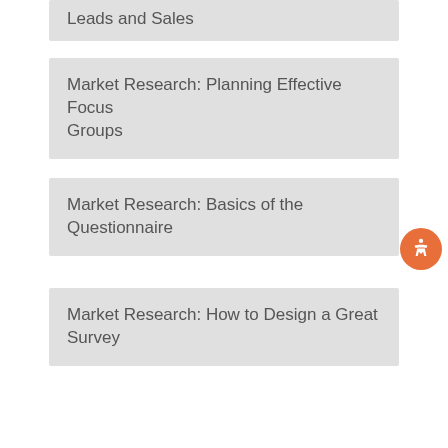Leads and Sales
Market Research: Planning Effective Focus Groups
Market Research: Basics of the Questionnaire
Market Research: How to Design a Great Survey
Market Research: Understanding Your Industry
SMS Marketing Software – Find the Perfect Platform